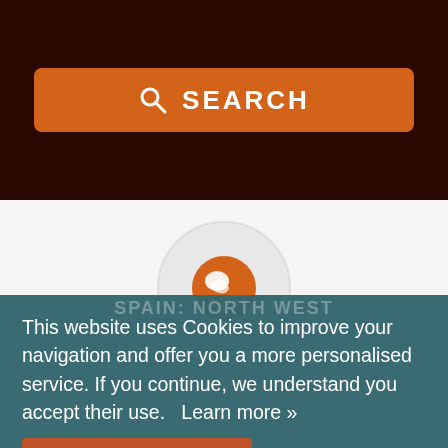[Figure (screenshot): Dark brown top navigation bar with an orange rounded search button containing a search icon and the word SEARCH]
[Figure (illustration): Light gray middle section with a large circular emblem containing an orange globe/world icon]
SPAIN: NORTH WEST
This website uses Cookies to improve your navigation and offer you a more personalised service. If you continue, we understand you accept their use.   Learn more »
[Figure (screenshot): Accept button (orange/brown) and social share icons (Twitter bird, Pinterest P) and a reCAPTCHA icon with Share this page text below]